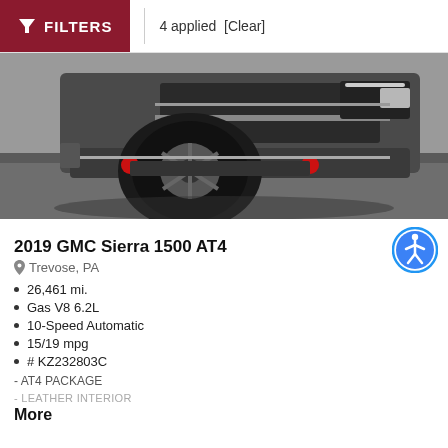FILTERS | 4 applied [Clear]
[Figure (photo): Close-up front view of a dark gray 2019 GMC Sierra 1500 AT4 truck showing the front bumper, wheel, and grille with red tow hooks]
2019 GMC Sierra 1500 AT4
Trevose, PA
26,461 mi.
Gas V8 6.2L
10-Speed Automatic
15/19 mpg
# KZ232803C
- AT4 PACKAGE
- LEATHER INTERIOR
More